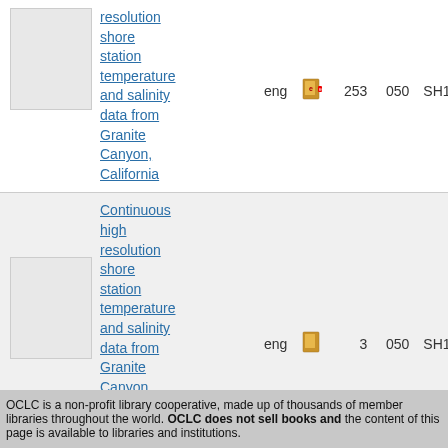resolution shore station temperature and salinity data from Granite Canyon, California | eng | 253 | 050 | SH11.A2
Continuous high resolution shore station temperature and salinity data from Granite Canyon, California | eng | 3 | 050 | SH11.A2
Displaying 1 to 2 of 2
OCLC is a non-profit library cooperative, made up of thousands of member libraries throughout the world. OCLC does not sell books and the content of this page is available to libraries and institutions.